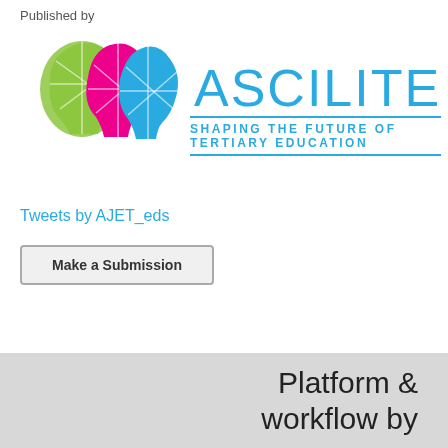Published by
[Figure (logo): ASCILITE logo with three overlapping human head silhouettes in green, pink/magenta, and blue colors, with the text ASCILITE in large blue letters and the tagline SHAPING THE FUTURE OF TERTIARY EDUCATION below]
Tweets by AJET_eds
Make a Submission
Platform & workflow by